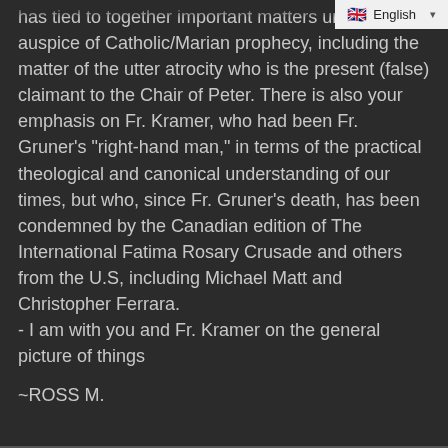has tied to together important matters under the auspice of Catholic/Marian prophecy, including the matter of the utter atrocity who is the present (false) claimant to the Chair of Peter. There is also your emphasis on Fr. Kramer, who had been Fr. Gruner's "right-hand man," in terms of the practical theological and canonical understanding of our times, but who, since Fr. Gruner's death, has been condemned by the Canadian edition of The International Fatima Rosary Crusade and others from the U.S, including Michael Matt and Christopher Ferrara.
- I am with you and Fr. Kramer on the general picture of things
~ROSS M.